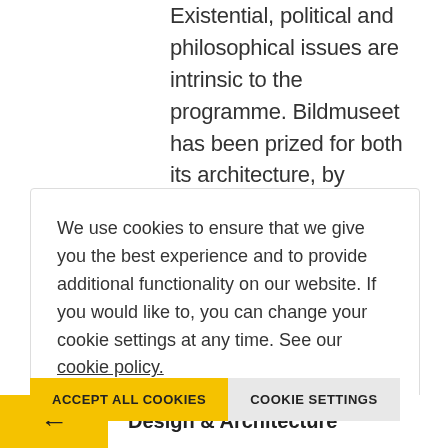Existential, political and philosophical issues are intrinsic to the programme. Bildmuseet has been prized for both its architecture, by Henning Larsen Architects in collaboration with White, and the overall experience.
We use cookies to ensure that we give you the best experience and to provide additional functionality on our website. If you would like to, you can change your cookie settings at any time. See our cookie policy.
ACCEPT ALL COOKIES
COOKIE SETTINGS
← Design & Architecture